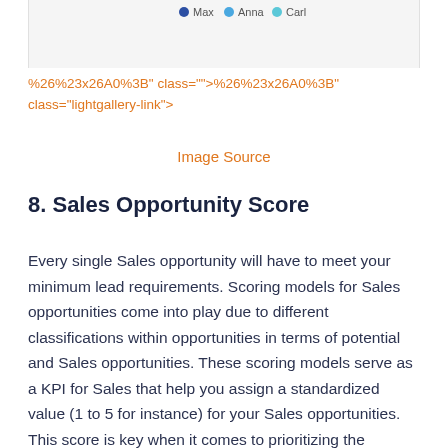[Figure (screenshot): Partial screenshot of a chart or image with a legend showing Max, Anna, Carl at the top, displayed in a light gray box]
%26%23x26A0%3B" class="">%26%23x26A0%3B" class="lightgallery-link">
Image Source
8. Sales Opportunity Score
Every single Sales opportunity will have to meet your minimum lead requirements. Scoring models for Sales opportunities come into play due to different classifications within opportunities in terms of potential and Sales opportunities. These scoring models serve as a KPI for Sales that help you assign a standardized value (1 to 5 for instance) for your Sales opportunities. This score is key when it comes to prioritizing the resources and assigning them accordingly. This ensures that profitable Sales